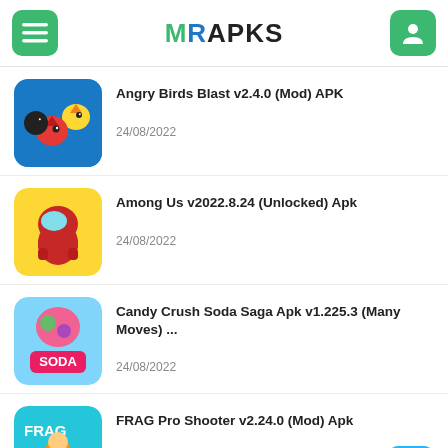MRAPKS
Angry Birds Blast v2.4.0 (Mod) APK
24/08/2022
Among Us v2022.8.24 (Unlocked) Apk
24/08/2022
Candy Crush Soda Saga Apk v1.225.3 (Many Moves) ...
24/08/2022
FRAG Pro Shooter v2.24.0 (Mod) Apk
24/08/2022